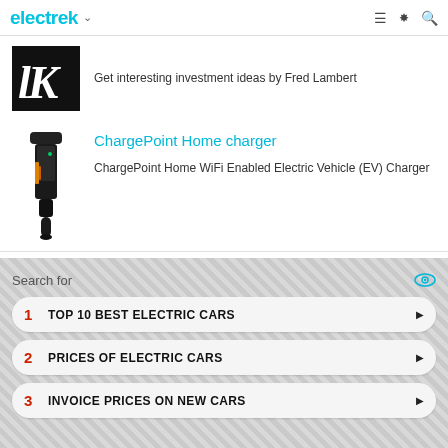electrek
[Figure (screenshot): Partial logo/thumbnail in black and white showing stylized text 'lK']
Get interesting investment ideas by Fred Lambert
[Figure (photo): ChargePoint Home EV charger device — black charging handle/cable unit on white background]
ChargePoint Home charger
ChargePoint Home WiFi Enabled Electric Vehicle (EV) Charger
Search for
1  TOP 10 BEST ELECTRIC CARS
2  PRICES OF ELECTRIC CARS
3  INVOICE PRICES ON NEW CARS